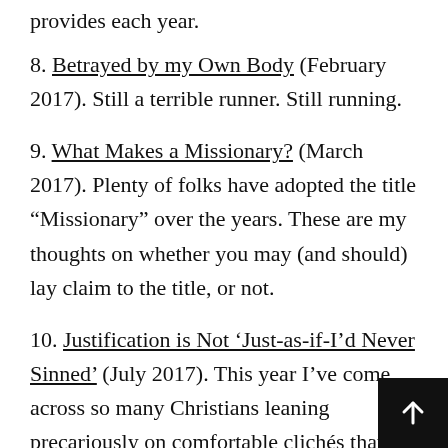provides each year.
8. Betrayed by my Own Body (February 2017). Still a terrible runner. Still running.
9. What Makes a Missionary? (March 2017). Plenty of folks have adopted the title "Missionary" over the years. These are my thoughts on whether you may (and should) lay claim to the title, or not.
10. Justification is Not 'Just-as-if-I'd Never Sinned' (July 2017). This year I've come across so many Christians leaning precariously on comfortable clichés that I'd like to see dropped